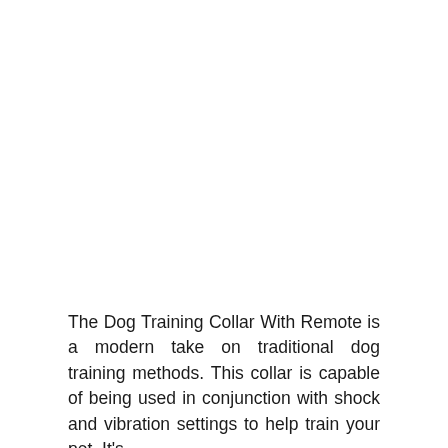The Dog Training Collar With Remote is a modern take on traditional dog training methods. This collar is capable of being used in conjunction with shock and vibration settings to help train your pet. It's